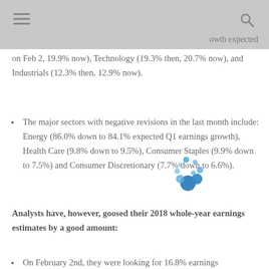owth expected on Feb 2, 19.9% now), Technology (19.3% then, 20.7% now), and Industrials (12.3% then, 12.9% now).
The major sectors with negative revisions in the last month include: Energy (86.0% down to 84.1% expected Q1 earnings growth), Health Care (9.8% down to 9.5%), Consumer Staples (9.9% down to 7.5%) and Consumer Discretionary (7.7% down to 6.6%).
Analysts have, however, goosed their 2018 whole-year earnings estimates by a good amount:
On February 2nd, they were looking for 16.8% earnings